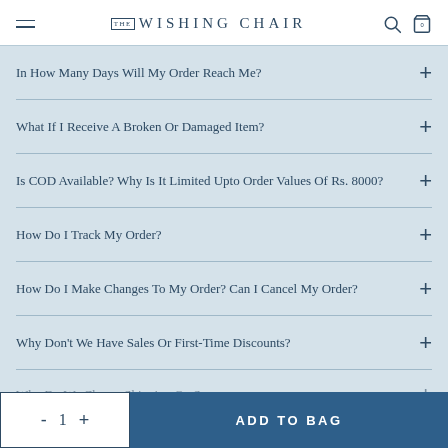THE WISHING CHAIR
In How Many Days Will My Order Reach Me?
What If I Receive A Broken Or Damaged Item?
Is COD Available? Why Is It Limited Upto Order Values Of Rs. 8000?
How Do I Track My Order?
How Do I Make Changes To My Order? Can I Cancel My Order?
Why Don't We Have Sales Or First-Time Discounts?
Why Do We Charge Shipping On Some...